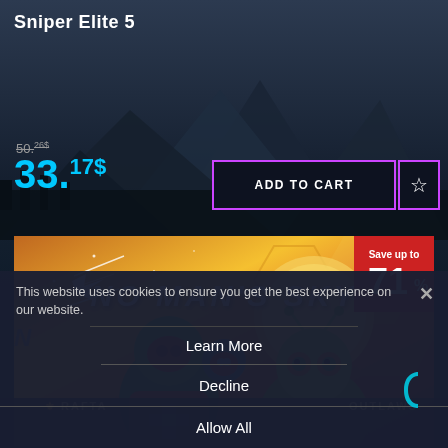Sniper Elite 5
50.26$
33.17$
ADD TO CART
[Figure (screenshot): No Man's Sky game banner with alien characters and Save up to 71% badge. Background shows orange/yellow gradient with hexagonal patterns.]
Save up to 71%
RAFTA
OUTLAWS
This website uses cookies to ensure you get the best experience on our website.
Learn More
Decline
Allow All